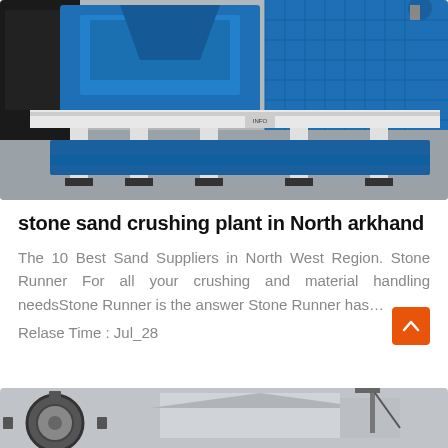[Figure (photo): Industrial stone sand crushing plant machinery with blue metal frame and white support legs on a factory floor. Large blue mechanical crusher/screening equipment visible.]
stone sand crushing plant in North arkhand
The 10 Best Sand Suppliers in North West Region. Stone Runner For all your crushing and material handling needsStone Runner is the answer Stone Runner has…
Relase Time : Jul_28
[Figure (photo): Partial view of another industrial machine with gears/wheels, partially visible at the bottom of the page.]